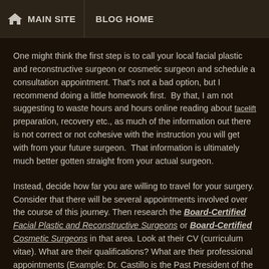MAIN SITE  BLOG HOME
One might think the first step is to call your local facial plastic and reconstructive surgeon or cosmetic surgeon and schedule a consultation appointment. That's not a bad option, but I recommend doing a little homework first.  By that, I am not suggesting to waste hours and hours online reading about facelift preparation, recovery etc., as much of the information out there is not correct or not cohesive with the instruction you will get with from your future surgeon.  That information is ultimately much better gotten straight from your actual surgeon.
Instead, decide how far you are willing to travel for your surgery. Consider that there will be several appointments involved over the course of this journey. Then research the Board-Certified Facial Plastic and Reconstructive Surgeons or Board-Certified Cosmetic Surgeons in that area. Look at their CV (curriculum vitae). What are their qualifications? What are their professional appointments (Example: Dr. Castillo is the Past President of the American Academy of Cosmetic Surgery...)? What type of experience do they have? How long have they been practicing? Look online at their before and after